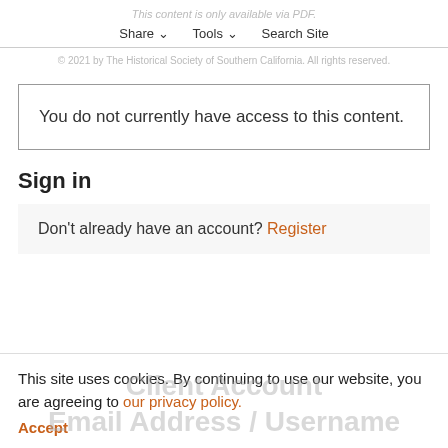This content is only available via PDF.
Share ∨   Tools ∨   Search Site
© 2021 by The Historical Society of Southern California. All rights reserved.
You do not currently have access to this content.
Sign in
Don't already have an account? Register
This site uses cookies. By continuing to use our website, you are agreeing to our privacy policy. Accept